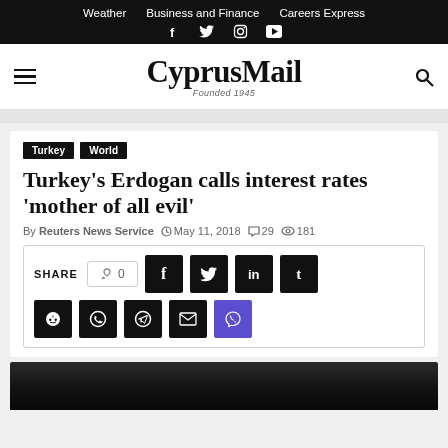Weather  Business and Finance  Careers Express
CyprusMail — Founded 1945
Turkey  World
Turkey's Erdogan calls interest rates 'mother of all evil'
By Reuters News Service  May 11, 2018  29  181
SHARE  0  [social share buttons: Facebook, Twitter, LinkedIn, Tumblr, Reddit, WhatsApp, Telegram, Email, Viber]
[Figure (photo): Dark photo of a person, partially visible at bottom of page]